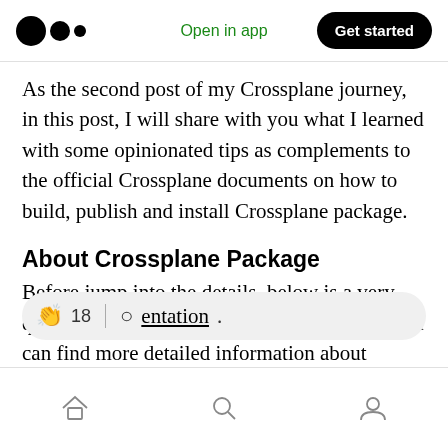Medium logo | Open in app | Get started
As the second post of my Crossplane journey, in this post, I will share with you what I learned with some opinionated tips as complements to the official Crossplane documents on how to build, publish and install Crossplane package.
About Crossplane Package
Before jump into the details, below is a very quick recap of what Crossplane package is. You can find more detailed information about Crossplane package from Cro entation.
Home | Search | Profile